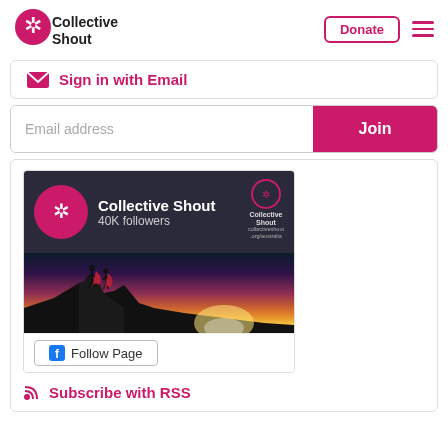Collective Shout | Donate
Sign in with Email
Email address | Join
[Figure (screenshot): Facebook page widget for Collective Shout showing 40K followers with a sunset hero image and Follow Page button]
Subscribe with RSS